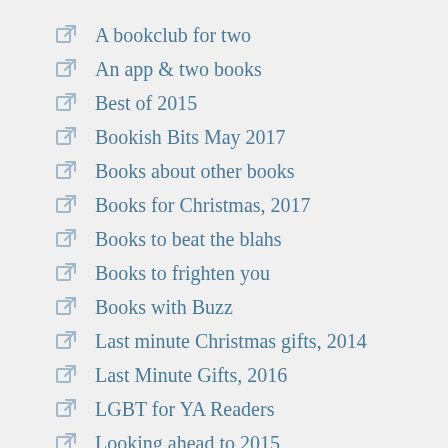A bookclub for two
An app & two books
Best of 2015
Bookish Bits May 2017
Books about other books
Books for Christmas, 2017
Books to beat the blahs
Books to frighten you
Books with Buzz
Last minute Christmas gifts, 2014
Last Minute Gifts, 2016
LGBT for YA Readers
Looking ahead to 2015
Moving Day